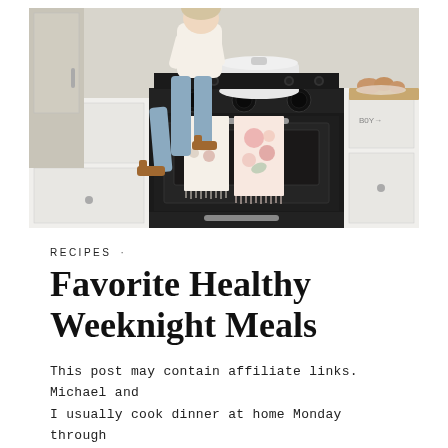[Figure (photo): Woman in jeans and sandals sitting on a black stove/range in a white kitchen, with floral dish towels hanging on the oven door, a white dutch oven on top, and baked goods on a wooden cutting board to the right.]
RECIPES ·
Favorite Healthy Weeknight Meals
This post may contain affiliate links. Michael and I usually cook dinner at home Monday through